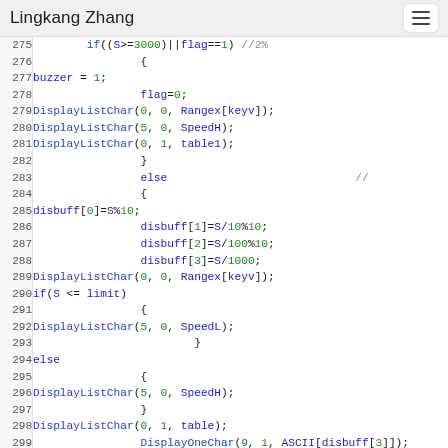Lingkang Zhang
[Figure (screenshot): Code listing lines 275-299+ showing C-language source code with syntax highlighting. Blue keywords, green numbers, monospace font on white background with line numbers in left gutter.]